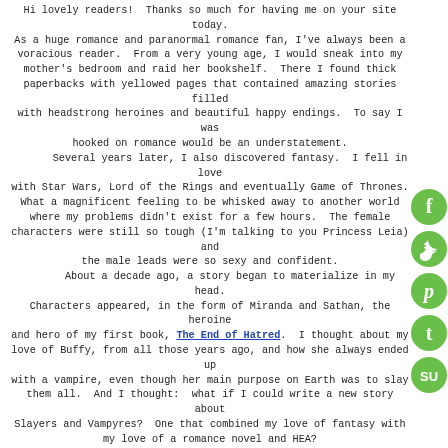Hi lovely readers!  Thanks so much for having me on your site today.  As a huge romance and paranormal romance fan, I've always been a voracious reader.  From a very young age, I would sneak into my mother's bedroom and raid her bookshelf.  There I found thick paperbacks with yellowed pages that contained amazing stories filled with headstrong heroines and beautiful happy endings.  To say I was hooked on romance would be an understatement.
        Several years later, I also discovered fantasy.  I fell in love with Star Wars, Lord of the Rings and eventually Game of Thrones.  What a magnificent feeling to be whisked away to another world where my problems didn't exist for a few hours.  The female characters were still so tough (I'm talking to you Princess Leia) and the male leads were so sexy and confident.
        About a decade ago, a story began to materialize in my head.  Characters appeared, in the form of Miranda and Sathan, the heroine and hero of my first book, The End of Hatred.  I thought about my love of Buffy, from all those years ago, and how she always ended up with a vampire, even though her main purpose on Earth was to slay them all.  And I thought:  what if I could write a new story about Slayers and Vampyres?  One that combined my love of fantasy with my love of a romance novel and HEA?
        Late one night, I sat at my computer to inscribe the visions in
[Figure (illustration): Five social media icons in green circles stacked vertically on the right side: Facebook (f), Twitter (bird), Pinterest (P), Tumblr (t), StumbleUpon (su)]